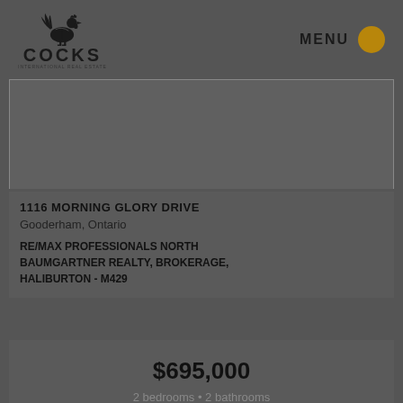COCKS - MENU
[Figure (photo): Property listing photo placeholder, dark gray background]
1116 MORNING GLORY DRIVE
Gooderham, Ontario
RE/MAX PROFESSIONALS NORTH BAUMGARTNER REALTY, BROKERAGE, HALIBURTON - M429
$695,000
2 bedrooms • 2 bathrooms